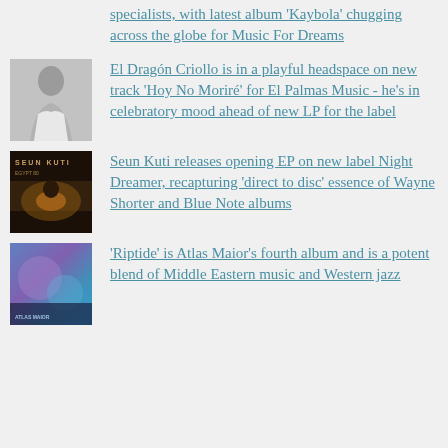specialists, with latest album 'Kaybola' chugging across the globe for Music For Dreams
[Figure (photo): Black and white photo of a person, El Dragón Criollo]
El Dragón Criollo is in a playful headspace on new track 'Hoy No Moriré' for El Palmas Music - he's in celebratory mood ahead of new LP for the label
[Figure (photo): Album cover for Seun Kuti release, dark atmospheric image with text SEUN KUTI]
Seun Kuti releases opening EP on new label Night Dreamer, recapturing 'direct to disc' essence of Wayne Shorter and Blue Note albums
[Figure (photo): Album cover for Atlas Maior's Riptide, colorful abstract image]
'Riptide' is Atlas Maior's fourth album and is a potent blend of Middle Eastern music and Western jazz